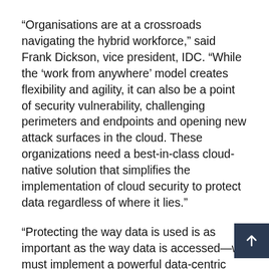“Organisations are at a crossroads navigating the hybrid workforce,” said Frank Dickson, vice president, IDC. “While the ‘work from anywhere’ model creates flexibility and agility, it can also be a point of security vulnerability, challenging perimeters and endpoints and opening new attack surfaces in the cloud. These organizations need a best-in-class cloud-native solution that simplifies the implementation of cloud security to protect data regardless of where it lies.”
“Protecting the way data is used is as important as the way data is accessed—we must implement a powerful data-centric defense to meet the demands of how work is conducted today,” said Dan Meacham, Chief Information Security Officer, Legendary Entertainment. “Skyhigh Security’s platform approach is completely integrated and simple to use. With over 10 years focus on cloud security, they are a pioneer in the SSE space. Skyhigh Security is continuously consolidating th…